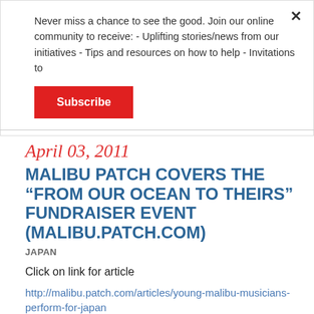Never miss a chance to see the good. Join our online community to receive: - Uplifting stories/news from our initiatives - Tips and resources on how to help - Invitations to
Subscribe
April 03, 2011
MALIBU PATCH COVERS THE “FROM OUR OCEAN TO THEIRS” FUNDRAISER EVENT (MALIBU.PATCH.COM)
JAPAN
Click on link for article
http://malibu.patch.com/articles/young-malibu-musicians-perform-for-japan